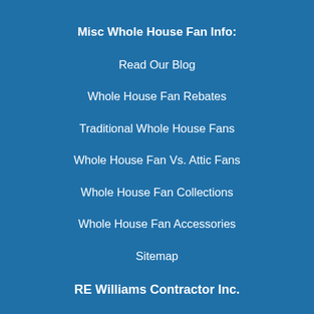Misc Whole House Fan Info:
Read Our Blog
Whole House Fan Rebates
Traditional Whole House Fans
Whole House Fan Vs. Attic Fans
Whole House Fan Collections
Whole House Fan Accessories
Sitemap
RE Williams Contractor Inc.